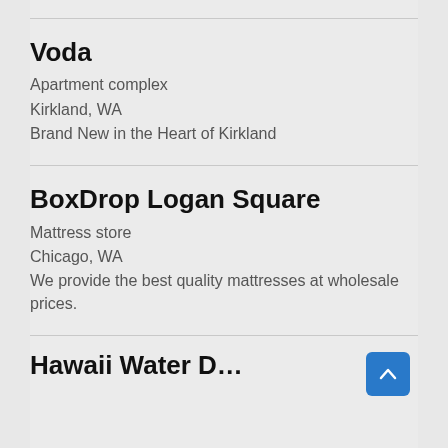Voda
Apartment complex
Kirkland, WA
Brand New in the Heart of Kirkland
BoxDrop Logan Square
Mattress store
Chicago, WA
We provide the best quality mattresses at wholesale prices.
Hawaii Water D…